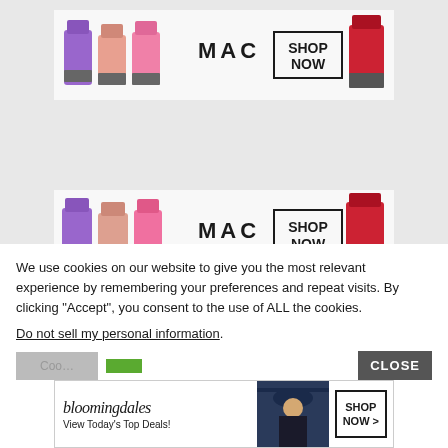[Figure (illustration): MAC Cosmetics advertisement banner with colorful lipsticks (purple, pink, coral, red) and 'MAC' logo with 'SHOP NOW' button in border box]
[Figure (illustration): MAC Cosmetics advertisement banner (duplicate) with colorful lipsticks (purple, pink, coral, red) and 'MAC' logo with 'SHOP NOW' button in border box]
We use cookies on our website to give you the most relevant experience by remembering your preferences and repeat visits. By clicking “Accept”, you consent to the use of ALL the cookies.
Do not sell my personal information.
[Figure (illustration): Bloomingdale's advertisement with logo, tagline 'View Today's Top Deals!', model in hat, and 'SHOP NOW >' button]